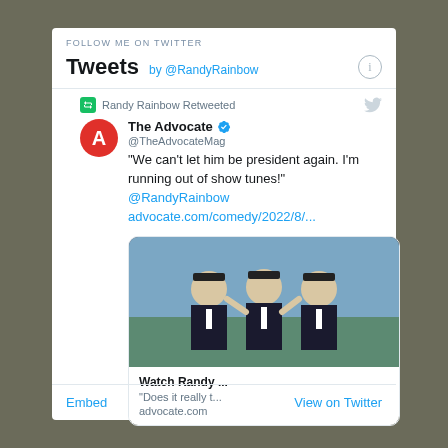FOLLOW ME ON TWITTER
Tweets by @RandyRainbow
Randy Rainbow Retweeted
The Advocate @TheAdvocateMag
"We can't let him be president again. I'm running out of show tunes!" @RandyRainbow advocate.com/comedy/2022/8/...
[Figure (screenshot): Link card showing Watch Randy ... article preview with image of person performing, description 'Does it really t...', domain advocate.com]
Embed   View on Twitter